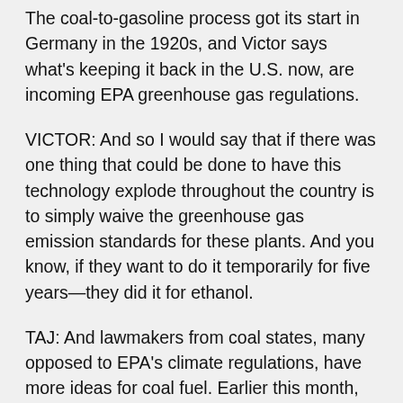The coal-to-gasoline process got its start in Germany in the 1920s, and Victor says what's keeping it back in the U.S. now, are incoming EPA greenhouse gas regulations.
VICTOR: And so I would say that if there was one thing that could be done to have this technology explode throughout the country is to simply waive the greenhouse gas emission standards for these plants. And you know, if they want to do it temporarily for five years—they did it for ethanol.
TAJ: And lawmakers from coal states, many opposed to EPA's climate regulations, have more ideas for coal fuel. Earlier this month, West Virginia representatives from both parties proposed mandating a minimum amount of liquid coal to be blended into gasoline, much like ethanol is today. Democratic Senators from coal-rich Montana have have proposed extending defense fuel contracts to